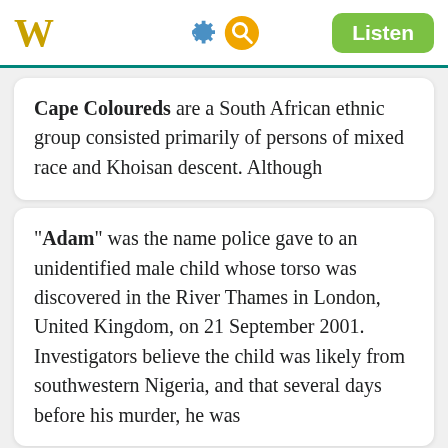W  [gear icon] [search icon]  Listen
Cape Coloureds are a South African ethnic group consisted primarily of persons of mixed race and Khoisan descent. Although
"Adam" was the name police gave to an unidentified male child whose torso was discovered in the River Thames in London, United Kingdom, on 21 September 2001. Investigators believe the child was likely from southwestern Nigeria, and that several days before his murder, he was